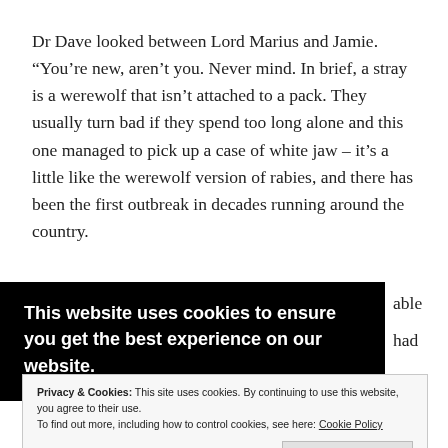Dr Dave looked between Lord Marius and Jamie. “You’re new, aren’t you. Never mind. In brief, a stray is a werewolf that isn’t attached to a pack. They usually turn bad if they spend too long alone and this one managed to pick up a case of white jaw – it’s a little like the werewolf version of rabies, and there has been the first outbreak in decades running around the country.
[Figure (screenshot): Cookie consent overlay banner (black background) with text: 'This website uses cookies to ensure you get the best experience on our website.' Below it a white/grey cookie notice box with privacy policy text and 'Cookie Policy' link, and a 'Close and accept' button.]
Mark gave a few staccato barks and a deep ‘woof’.